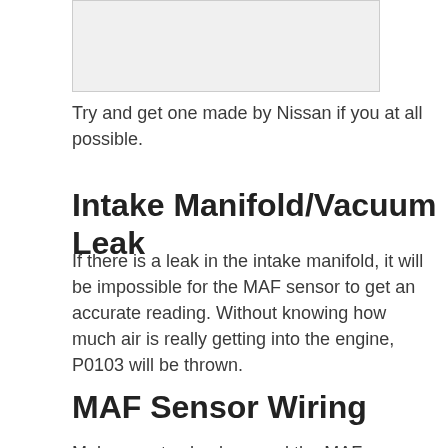[Figure (photo): Image placeholder at top of page]
Try and get one made by Nissan if you at all possible.
Intake Manifold/Vacuum Leak
If there is a leak in the intake manifold, it will be impossible for the MAF sensor to get an accurate reading. Without knowing how much air is really getting into the engine, P0103 will be thrown.
MAF Sensor Wiring
Make sure to check around the MAF sensor for opens or shorts. Start by inspecting the